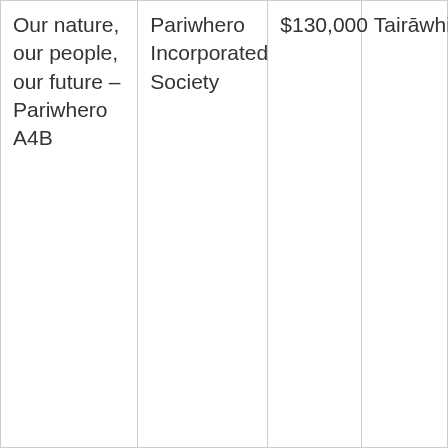| Our nature, our people, our future – Pariwhero A4B | Pariwhero Incorporated Society | $130,000 | Tairāwhiti |